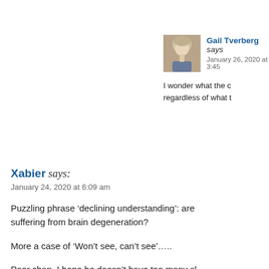Gail Tverberg says:
January 26, 2020 at 3:45
I wonder what the c regardless of what t
Xabier says:
January 24, 2020 at 6:09 am
Puzzling phrase ‘declining understanding’: are suffering from brain degeneration?
More a case of ‘Won’t see, can’t see’…..
Poor chap, I hope he doesn’t have too many sl